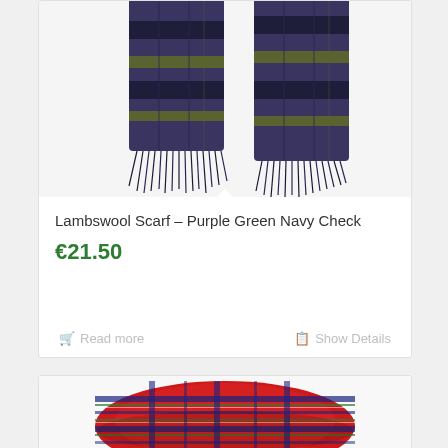[Figure (photo): Product photo of a Lambswool Scarf in Purple Green Navy Check pattern, showing two ends of the scarf with fringe tassels hanging down, on a white background.]
Lambswool Scarf – Purple Green Navy Check
€21.50
Read more
Show Details
[Figure (photo): Product photo of a red tartan plaid scarf bundled/coiled, showing red, navy, green and white plaid pattern.]